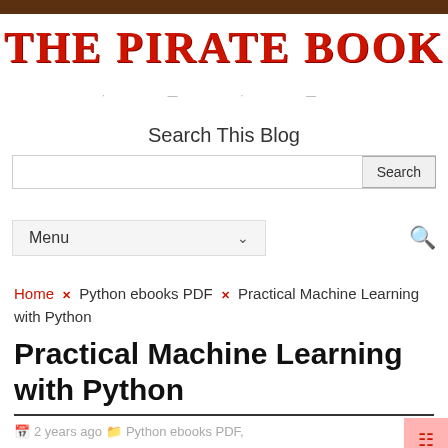THE PIRATE BOOK
Search This Blog
Menu
Home × Python ebooks PDF × Practical Machine Learning with Python
Practical Machine Learning with Python
2 years ago  Python ebooks PDF,